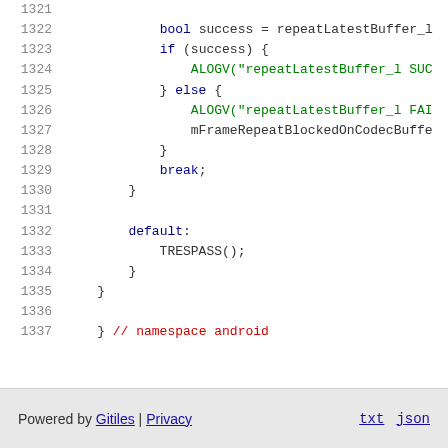Code listing lines 1321-1337: C++ source code showing bool success = repeatLatestBuffer_l(...), if/else with ALOGV calls, break, default: TRESPASS(), closing braces and namespace android comment
Powered by Gitiles | Privacy    txt  json